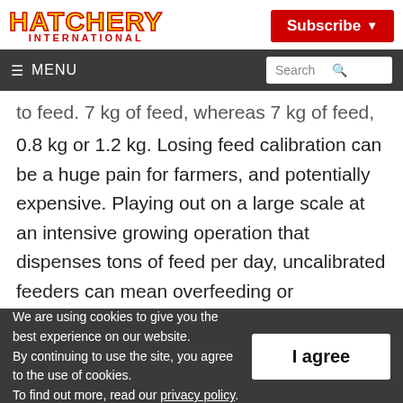HATCHERY INTERNATIONAL | Subscribe
≡ MENU | Search
to feed. 7 kg of feed, whereas 7 kg of feed, not 0.8 kg or 1.2 kg. Losing feed calibration can be a huge pain for farmers, and potentially expensive. Playing out on a large scale at an intensive growing operation that dispenses tons of feed per day, uncalibrated feeders can mean overfeeding or underfeeding in a big
We are using cookies to give you the best experience on our website. By continuing to use the site, you agree to the use of cookies. To find out more, read our privacy policy.